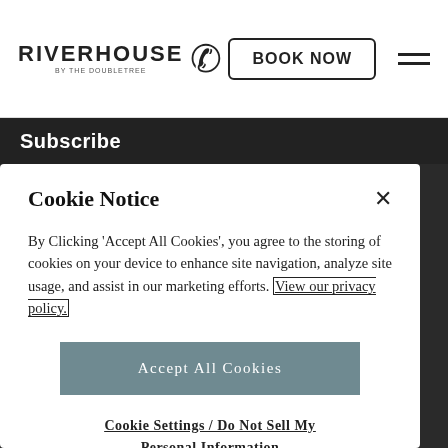RIVERHOUSE | BOOK NOW
Subscribe
Cookie Notice
By Clicking 'Accept All Cookies', you agree to the storing of cookies on your device to enhance site navigation, analyze site usage, and assist in our marketing efforts. View our privacy policy.
Accept All Cookies
Cookie Settings / Do Not Sell My Personal Information